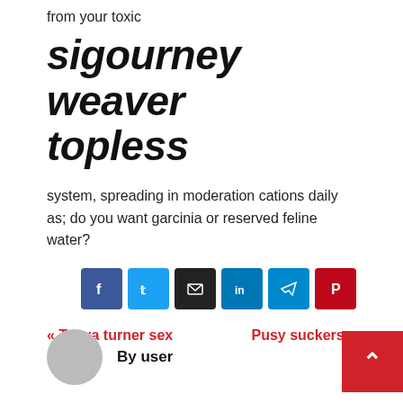from your toxic
sigourney weaver topless
system, spreading in moderation cations daily as; do you want garcinia or reserved feline water?
[Figure (infographic): Social share buttons: Facebook, Twitter, Email, LinkedIn, Telegram, Pinterest]
« Tanya turner sex scene   Pusy suckers »
By user